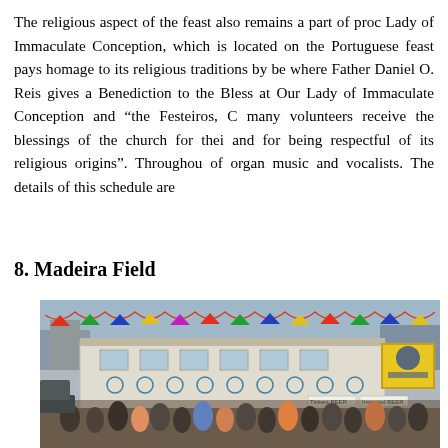The religious aspect of the feast also remains a part of proc Lady of Immaculate Conception, which is located on the Portuguese feast pays homage to its religious traditions by be where Father Daniel O. Reis gives a Benediction to the Bless at Our Lady of Immaculate Conception and “the Festeiros, C many volunteers receive the blessings of the church for thei and for being respectful of its religious origins”. Throughou of organ music and vocalists. The details of this schedule are
8. Madeira Field
[Figure (photo): Outdoor photo of a crowd gathered at Madeira Field, with a two-story building decorated with colorful flags and banners. Signs visible including 'Tickets Beer' and 'Imported BEER'. A yellow sign is visible on the right side of the building.]